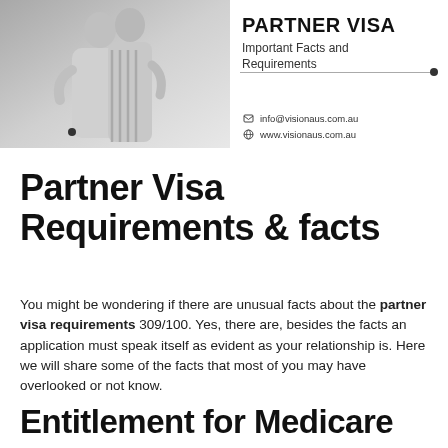[Figure (illustration): Banner image with a couple embracing on the left side, and on the right side text reading 'PARTNER VISA Important Facts and Requirements' with contact details: info@visionaus.com.au and www.visionaus.com.au]
Partner Visa Requirements & facts
You might be wondering if there are unusual facts about the partner visa requirements 309/100. Yes, there are, besides the facts an application must speak itself as evident as your relationship is. Here we will share some of the facts that most of you may have overlooked or not know.
Entitlement for Medicare